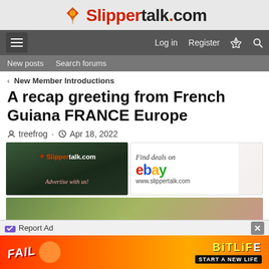Slippertalk.com
Log in  Register
New posts  Search forums
< New Member Introductions
A recap greeting from French Guiana FRANCE Europe
treefrog · Apr 18, 2022
[Figure (photo): Slippertalk.com Advertise with us banner ad with orchid flowers]
[Figure (photo): Find deals on eBay www.slippertalk.com ad with white orchid]
[Figure (photo): Partial floral advertisement banner]
Report Ad
[Figure (photo): BitLife app advertisement: FAIL character with fire, START A NEW LIFE]